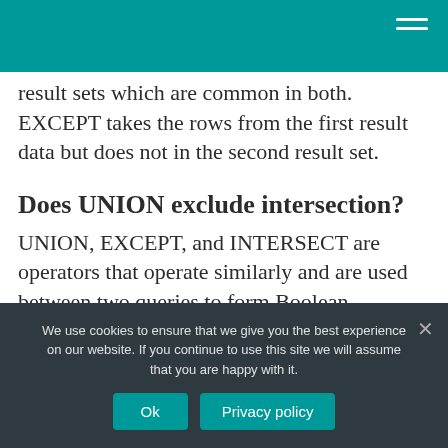result sets which are common in both. EXCEPT takes the rows from the first result data but does not in the second result set.
Does UNION exclude intersection?
UNION, EXCEPT, and INTERSECT are operators that operate similarly and are used between two queries to form Boolean combinations between the results of the two queries. Given queries A and B, UNION
We use cookies to ensure that we give you the best experience on our website. If you continue to use this site we will assume that you are happy with it.